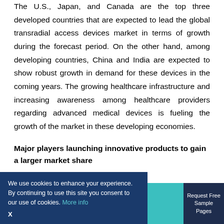The U.S., Japan, and Canada are the top three developed countries that are expected to lead the global transradial access devices market in terms of growth during the forecast period. On the other hand, among developing countries, China and India are expected to show robust growth in demand for these devices in the coming years. The growing healthcare infrastructure and increasing awareness among healthcare providers regarding advanced medical devices is fueling the growth of the market in these developing economies.
Major players launching innovative products to gain a larger market share
The players in the transradial access devices market are launching new and innovative products and receiving products to enhance their
We use cookies to enhance your experience. By continuing to use this site you consent to our use of cookies. More info
X
Request Free Sample Pages